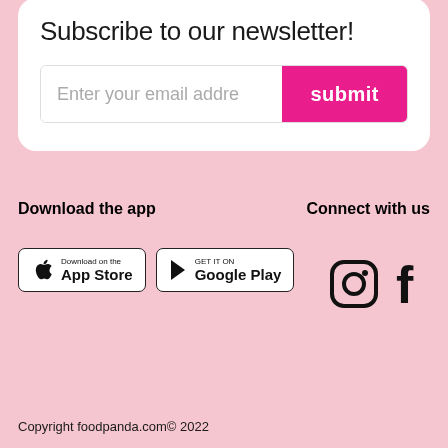Subscribe to our newsletter!
Enter your email addre
submit
Download the app
Connect with us
[Figure (logo): App Store download badge with Apple logo]
[Figure (logo): Google Play download badge with play icon]
[Figure (logo): Instagram icon (circle camera outline)]
[Figure (logo): Facebook f icon]
Copyright foodpanda.com© 2022